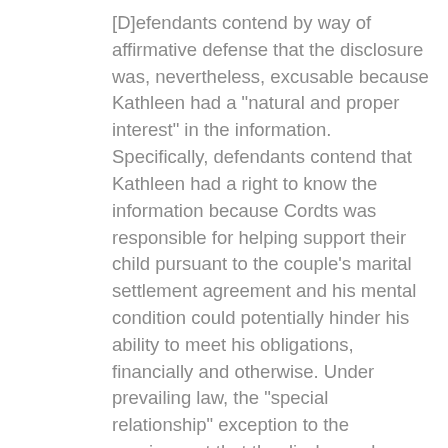[D]efendants contend by way of affirmative defense that the disclosure was, nevertheless, excusable because Kathleen had a "natural and proper interest" in the information. Specifically, defendants contend that Kathleen had a right to know the information because Cordts was responsible for helping support their child pursuant to the couple's marital settlement agreement and his mental condition could potentially hinder his ability to meet his obligations, financially and otherwise. Under prevailing law, the "special relationship" exception to the requirement that the disclosure be made to the general public will not apply where the person in the "special relationship" with the plaintiff has a "natural and proper interest" in the information disclosed. [Citations omitted.] We note, however, that although a person in a "special relationship" with a plaintiff is more likely than others to have a "natural and proper interest" in the plaintiff's private information, by virtue of that "special relationship,"